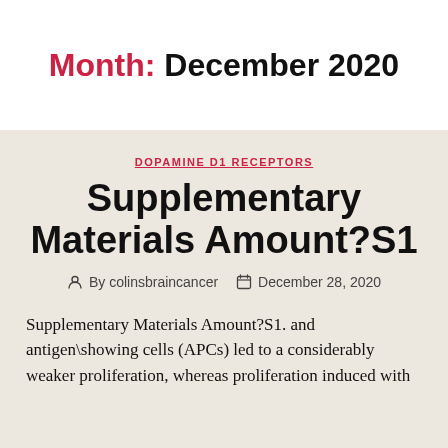Month: December 2020
DOPAMINE D1 RECEPTORS
Supplementary Materials Amount?S1
By colinsbraincancer   December 28, 2020
Supplementary Materials Amount?S1. and antigen\showing cells (APCs) led to a considerably weaker proliferation, whereas proliferation induced with